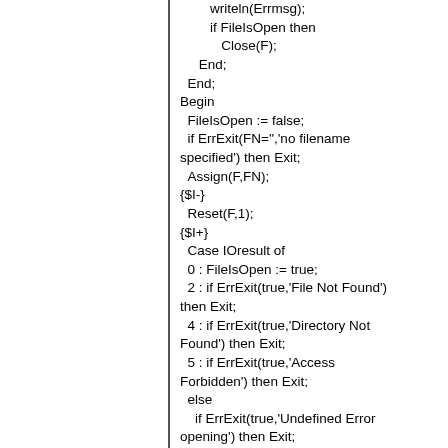writeln(Errmsg);
            if FileIsOpen then
               Close(F);
         End;
      End;
   Begin
      FileIsOpen := false;
      if ErrExit(FN='','no filename specified') then Exit;
      Assign(F,FN);
   {$I-}
      Reset(F,1);
   {$I+}
      Case IOresult of
      0 : FileIsOpen := true;
      2 : if ErrExit(true,'File Not Found') then Exit;
      4 : if ErrExit(true,'Directory Not Found') then Exit;
      5 : if ErrExit(true,'Access Forbidden') then Exit;
      else
         if ErrExit(true,'Undefined Error opening') then Exit;
      End;

   ....
      BlockRead(...
      if ErrExit(haveread <>
      size,'Reading File') then Exit;